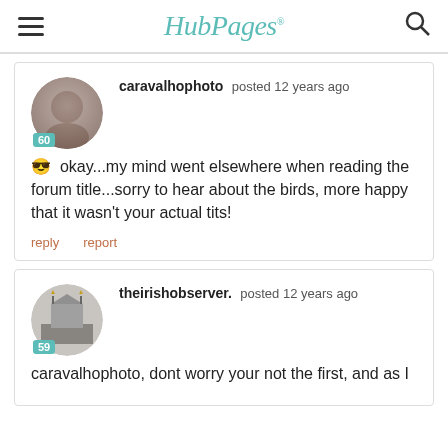HubPages
caravalhophoto posted 12 years ago
😎 okay...my mind went elsewhere when reading the forum title...sorry to hear about the birds, more happy that it wasn't your actual tits!
reply  report
theirishobserver. posted 12 years ago
caravalhophoto, dont worry your not the first, and as I